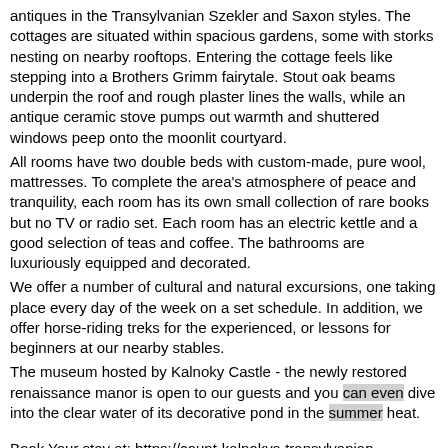antiques in the Transylvanian Szekler and Saxon styles. The cottages are situated within spacious gardens, some with storks nesting on nearby rooftops. Entering the cottage feels like stepping into a Brothers Grimm fairytale. Stout oak beams underpin the roof and rough plaster lines the walls, while an antique ceramic stove pumps out warmth and shuttered windows peep onto the moonlit courtyard.
All rooms have two double beds with custom-made, pure wool, mattresses. To complete the area's atmosphere of peace and tranquility, each room has its own small collection of rare books but no TV or radio set. Each room has an electric kettle and a good selection of teas and coffee. The bathrooms are luxuriously equipped and decorated.
We offer a number of cultural and natural excursions, one taking place every day of the week on a set schedule. In addition, we offer horse-riding treks for the experienced, or lessons for beginners at our nearby stables.
The museum hosted by Kalnoky Castle - the newly restored renaissance manor is open to our guests and you can even dive into the clear water of its decorative pond in the summer heat.
Book Your stay at: https://count-kalnokys-transylvanian-